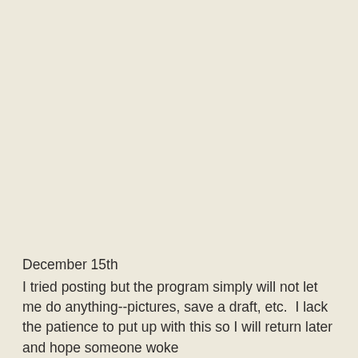December 15th
I tried posting but the program simply will not let me do anything--pictures, save a draft, etc.  I lack the patience to put up with this so I will return later and hope someone woke